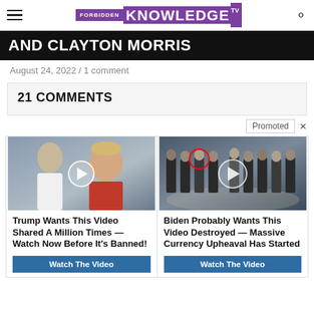Forbidden Knowledge TV
AND CLAYTON MORRIS
August 24, 2022 / 1 comment
21 COMMENTS
Promoted
[Figure (screenshot): Ad card 1: Video thumbnail of Trump and Melania with play button overlay. Title: Trump Wants This Video Shared A Million Times — Watch Now Before It's Banned! Button: Watch The Video]
[Figure (screenshot): Ad card 2: Video thumbnail of group of men in suits at CIA with red circle highlight and play button. Title: Biden Probably Wants This Video Destroyed — Massive Currency Upheaval Has Started. Button: Watch The Video]